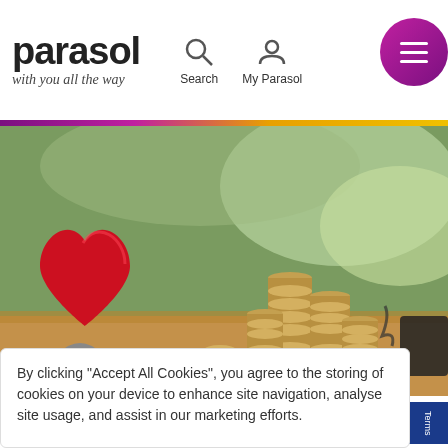[Figure (logo): Parasol logo with text 'parasol' in bold and tagline 'with you all the way' in italic script below]
[Figure (illustration): Navigation icons: magnifying glass for Search and person silhouette for My Parasol]
[Figure (illustration): Purple/magenta circular hamburger menu button with three horizontal white lines]
[Figure (photo): Photo of a red heart stress ball and stacks of coins on a wooden table with stethoscope, blurred green background]
By clicking “Accept All Cookies”, you agree to the storing of cookies on your device to enhance site navigation, analyse site usage, and assist in our marketing efforts.